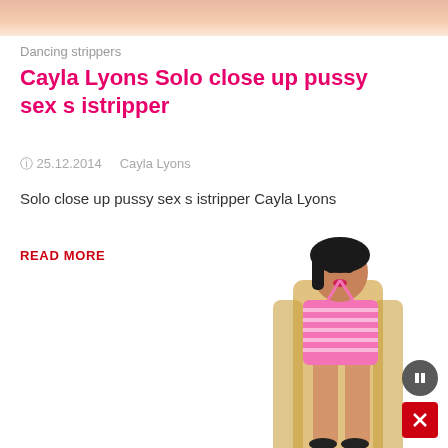[Figure (photo): Top cropped image showing skin tones, partial bodies]
Dancing strippers
Cayla Lyons Solo close up pussy sex s istripper
25.12.2014   Cayla Lyons
Solo close up pussy sex s istripper Cayla Lyons
READ MORE
[Figure (photo): Woman in pink striped mini dress with long blonde hair, posing full body]